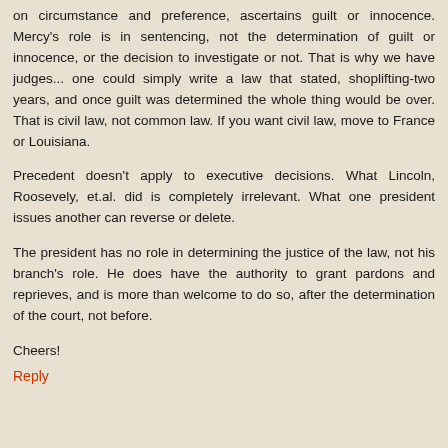on circumstance and preference, ascertains guilt or innocence. Mercy's role is in sentencing, not the determination of guilt or innocence, or the decision to investigate or not. That is why we have judges... one could simply write a law that stated, shoplifting-two years, and once guilt was determined the whole thing would be over. That is civil law, not common law. If you want civil law, move to France or Louisiana.
Precedent doesn't apply to executive decisions. What Lincoln, Roosevely, et.al. did is completely irrelevant. What one president issues another can reverse or delete.
The president has no role in determining the justice of the law, not his branch's role. He does have the authority to grant pardons and reprieves, and is more than welcome to do so, after the determination of the court, not before.
Cheers!
Reply